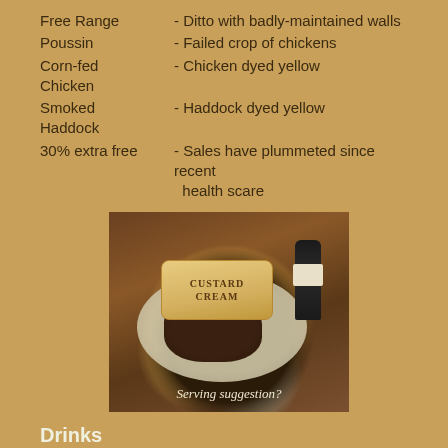Free Range  - Ditto with badly-maintained walls
Poussin  - Failed crop of chickens
Corn-fed Chicken  - Chicken dyed yellow
Smoked Haddock  - Haddock dyed yellow
30% extra free  - Sales have plummeted since recent health scare
[Figure (photo): A humorous food photo showing a steak topped with custard cream biscuits on a plate, with a dark beer bottle and opener, on a wooden table. Caption reads 'Serving suggestion?']
Drinks
Sparkling  - Fizzy
Smooth-flow  - Soapy